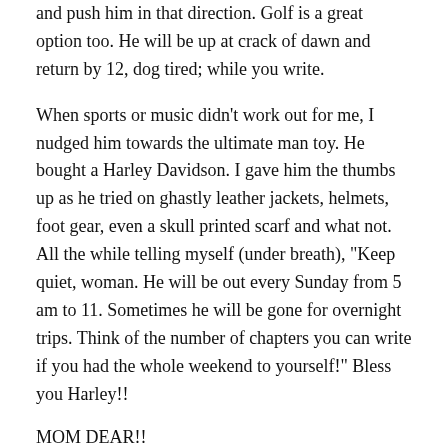and push him in that direction. Golf is a great option too. He will be up at crack of dawn and return by 12, dog tired; while you write.
When sports or music didn’t work out for me, I nudged him towards the ultimate man toy. He bought a Harley Davidson. I gave him the thumbs up as he tried on ghastly leather jackets, helmets, foot gear, even a skull printed scarf and what not. All the while telling myself (under breath), “Keep quiet, woman. He will be out every Sunday from 5 am to 11. Sometimes he will be gone for overnight trips. Think of the number of chapters you can write if you had the whole weekend to yourself!” Bless you Harley!!
MOM DEAR!!
Selfies with daughters notwithstanding, every woman fights the toughest battles with her mother. And I’m no different. Mommy